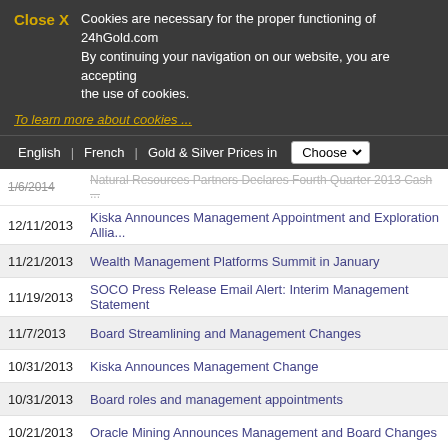Close X  Cookies are necessary for the proper functioning of 24hGold.com. By continuing your navigation on our website, you are accepting the use of cookies.
To learn more about cookies ...
English  French  Gold & Silver Prices in  Choose
1/6/2014  Natural Resources Partners Declares Fourth Quarter 2013 Cash ...
12/11/2013  Kiska Announces Management Appointment and Exploration Allia...
11/21/2013  Wealth Management Platforms Summit in January
11/19/2013  SOCO Press Release Email Alert: Interim Management Statement
11/7/2013  Board Streamlining and Management Changes
10/31/2013  Kiska Announces Management Change
10/31/2013  Board roles and management appointments
10/21/2013  Oracle Mining Announces Management and Board Changes
10/16/2013  Interim Management Statement
9/19/2013  ATI Announces Operations Management Changes
9/9/2013  McEwen Mining Announces Addition To Its Management Team
8/23/2013  Afferro Mining Inc. announces date of the Special Meeting an...
7/15/2013  Equal Energy Announces Change in Management
7/9/2013  Oracle Mining Announces Management Change
7/8/2013  SUM - Key Board and Management Appointments 20130708
5/7/2013  Veris Gold Corp. Announces Management Changes